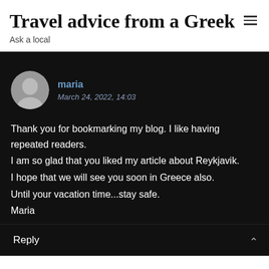Travel advice from a Greek
Ask a local
maria
March 24, 2022, 14:03
Thank you for bookmarking my blog. I like having repeated readers.
I am so glad that you liked my article about Reykjavik.
I hope that we will see you soon in Greece also.
Until your vacation time...stay safe.
Maria
Reply